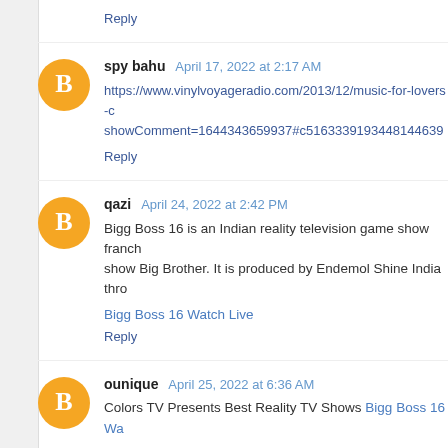Reply
spy bahu  April 17, 2022 at 2:17 AM
https://www.vinylvoyageradio.com/2013/12/music-for-lovers-c... showComment=1644343659937#c5163339193448144639
Reply
qazi  April 24, 2022 at 2:42 PM
Bigg Boss 16 is an Indian reality television game show franch... show Big Brother. It is produced by Endemol Shine India thro...
Bigg Boss 16 Watch Live
Reply
ounique  April 25, 2022 at 6:36 AM
Colors TV Presents Best Reality TV Shows Bigg Boss 16 Wa...
Reply